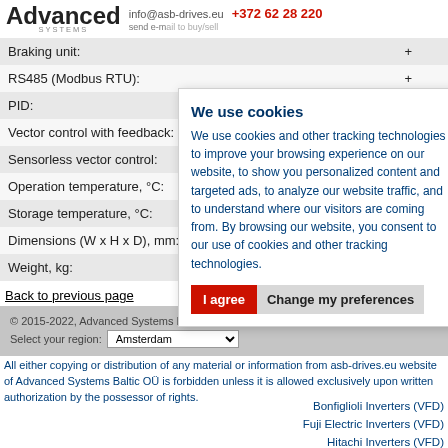Advanced SYSTEMS | info@asb-drives.eu +372 62 28 220 | send e-mail
| Parameter | Value |
| --- | --- |
| Braking unit: | + |
| RS485 (Modbus RTU): | + |
| PID: | PI - co... |
| Vector control with feedback: | + |
| Sensorless vector control: | + |
| Operation temperature, °C: | 0.....+... |
| Storage temperature, °C: | 0.....+... |
| Dimensions (W x H x D), mm: | 60x25... |
| Weight, kg: | 1,6 |
Back to previous page
[Figure (other): Cookie consent popup overlay with title 'We use cookies', body text about tracking technologies, and two buttons: 'I agree' (red) and 'Change my preferences' (gray)]
© 2015-2022, Advanced Systems Baltic OÜ | Select your region: Amsterdam
All either copying or distribution of any material or information from asb-drives.eu website of Advanced Systems Baltic OÜ is forbidden unless it is allowed exclusively upon written authorization by the possessor of rights.
Bonfiglioli Inverters (VFD)
Fuji Electric Inverters (VFD)
Hitachi Inverters (VFD)
LS Inverters (VFD)
Mitsubishi Inverters (VFD)
ABB ACS580
ABB ACS880